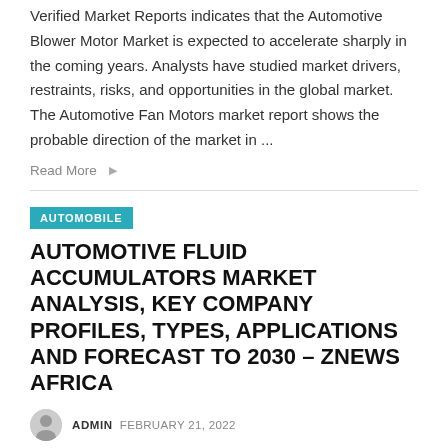Verified Market Reports indicates that the Automotive Blower Motor Market is expected to accelerate sharply in the coming years. Analysts have studied market drivers, restraints, risks, and opportunities in the global market. The Automotive Fan Motors market report shows the probable direction of the market in …
Read More
AUTOMOBILE
AUTOMOTIVE FLUID ACCUMULATORS MARKET ANALYSIS, KEY COMPANY PROFILES, TYPES, APPLICATIONS AND FORECAST TO 2030 – ZNEWS AFRICA
ADMIN   FEBRUARY 21, 2022
Automotive Fluid Accumulators Market Overview: The global automotive fluid accumulator market report